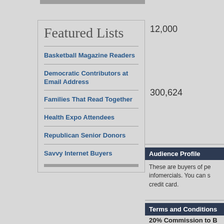Featured Lists
Basketball Magazine Readers
Democratic Contributors at Email Address
Families That Read Together
Health Expo Attendees
Republican Senior Donors
Savvy Internet Buyers
12,000
300,624
Audience Profile
These are buyers of pe infomercials. You can s credit card.
Terms and Conditions
20% Commission to B
Sample Mail Piece Req Cancellations after mem apply to first mail date i